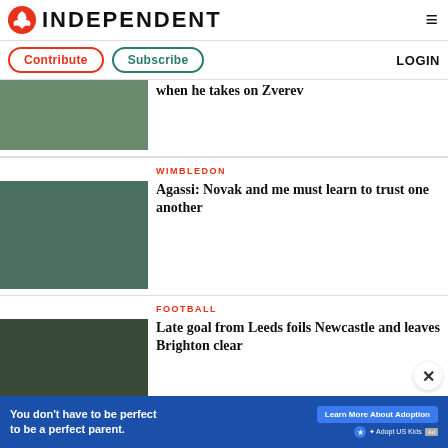INDEPENDENT
Contribute | Subscribe | LOGIN
when he takes on Zverev
WIMBLEDON
Agassi: Novak and me must learn to trust one another
FOOTBALL
Late goal from Leeds foils Newcastle and leaves Brighton clear
[Figure (photo): Advertisement banner: You don't have to be perfect to be a perfect parent. Learn More About Adoption. Adopt US Kids.]